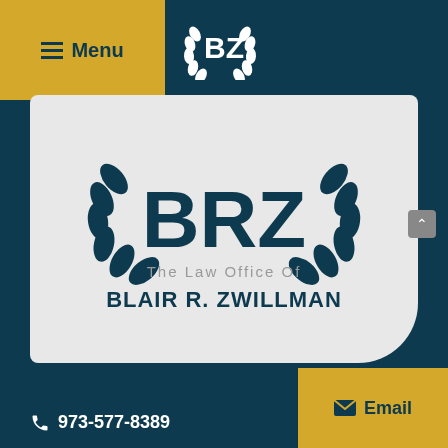[Figure (logo): BZ laurel wreath logo in white on dark teal header background]
Menu
[Figure (logo): BRZ laurel wreath logo with text 'The Law Office Of BLAIR R. ZWILLMAN' on light gray background]
973-577-8389
Email